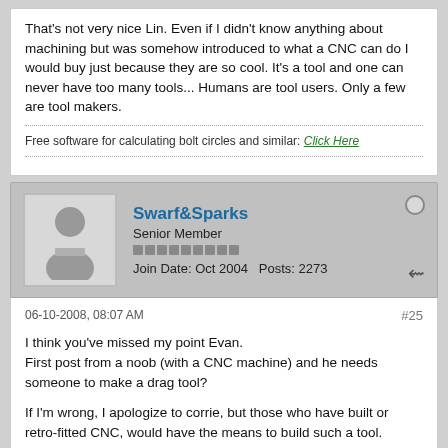That's not very nice Lin. Even if I didn't know anything about machining but was somehow introduced to what a CNC can do I would buy just because they are so cool. It's a tool and one can never have too many tools... Humans are tool users. Only a few are tool makers.
Free software for calculating bolt circles and similar: Click Here
Swarf&Sparks
Senior Member
Join Date: Oct 2004   Posts: 2273
06-10-2008, 08:07 AM
#25
I think you've missed my point Evan.
First post from a noob (with a CNC machine) and he needs someone to make a drag tool?

If I'm wrong, I apologize to corrie, but those who have built or retro-fitted CNC, would have the means to build such a tool.

Those who can afford off-the-shelf CNC, are unlikely to be lurking on this board. They'd be calling the supplier of the machine to order one.